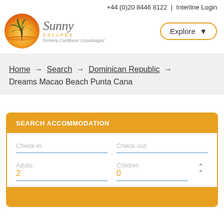+44 (0)20 8446 8122 | Interline Login
[Figure (logo): Sunny Escapes logo with palm tree in orange/yellow circle, formerly Caribbean Unpackaged]
Explore
Home → Search → Dominican Republic → Dreams Macao Beach Punta Cana
SEARCH ACCOMMODATION
Check-in
Check-out
Adults
2
Children
0